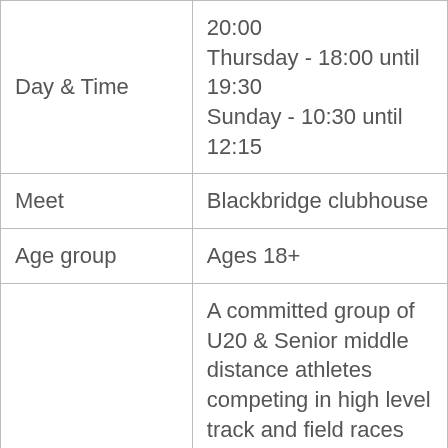| Day & Time | 20:00
Thursday - 18:00 until 19:30
Sunday - 10:30 until 12:15 |
| Meet | Blackbridge clubhouse |
| Age group | Ages 18+ |
| Discipline | A committed group of U20 & Senior middle distance athletes competing in high level track and field races over 800m to 3000m in the summer and cross-country and/or Indoor track in the winter. The group meets 3 to 4 times |